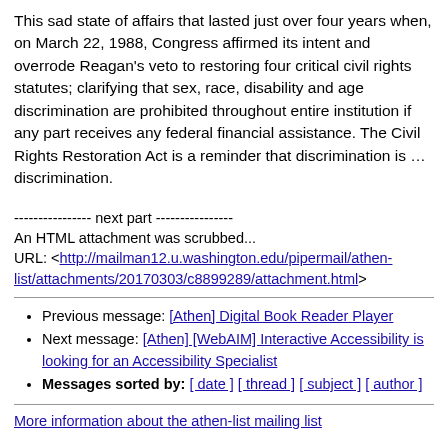This sad state of affairs that lasted just over four years when, on March 22, 1988, Congress affirmed its intent and overrode Reagan's veto to restoring four critical civil rights statutes; clarifying that sex, race, disability and age discrimination are prohibited throughout entire institution if any part receives any federal financial assistance. The Civil Rights Restoration Act is a reminder that discrimination is … discrimination.
---------------- next part ----------------
An HTML attachment was scrubbed...
URL: <http://mailman12.u.washington.edu/pipermail/athen-list/attachments/20170303/c8899289/attachment.html>
Previous message: [Athen] Digital Book Reader Player
Next message: [Athen] [WebAIM] Interactive Accessibility is looking for an Accessibility Specialist
Messages sorted by: [ date ] [ thread ] [ subject ] [ author ]
More information about the athen-list mailing list